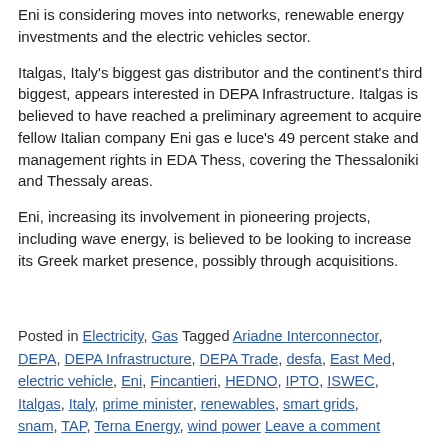Eni is considering moves into networks, renewable energy investments and the electric vehicles sector.
Italgas, Italy's biggest gas distributor and the continent's third biggest, appears interested in DEPA Infrastructure. Italgas is believed to have reached a preliminary agreement to acquire fellow Italian company Eni gas e luce's 49 percent stake and management rights in EDA Thess, covering the Thessaloniki and Thessaly areas.
Eni, increasing its involvement in pioneering projects, including wave energy, is believed to be looking to increase its Greek market presence, possibly through acquisitions.
Posted in Electricity, Gas Tagged Ariadne Interconnector, DEPA, DEPA Infrastructure, DEPA Trade, desfa, East Med, electric vehicle, Eni, Fincantieri, HEDNO, IPTO, ISWEC, Italgas, Italy, prime minister, renewables, smart grids, snam, TAP, Terna Energy, wind power Leave a comment
Greek, Cypriot, Israeli officials seeking